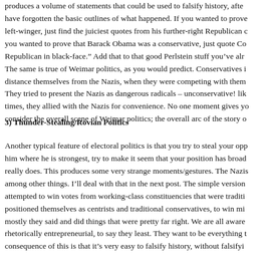produces a volume of statements that could be used to falsify history, after people have forgotten the basic outlines of what happened. If you wanted to prove a left-winger, just find the juiciest quotes from his further-right Republican c you wanted to prove that Barack Obama was a conservative, just quote Co Republican in black-face.” Add that to that good Perlstein stuff you’ve alr The same is true of Weimar politics, as you would predict. Conservatives i distance themselves from the Nazis, when they were competing with them They tried to present the Nazis as dangerous radicals – unconservative! lik times, they allied with the Nazis for convenience. No one moment gives ye consider the overall scene of Weimar politics; the overall arc of the story o
3) Thunder-Stealing/Rovian Politics
Another typical feature of electoral politics is that you try to steal your opp him where he is strongest, try to make it seem that your position has broad really does. This produces some very strange moments/gestures. The Nazis among other things. I’ll deal with that in the next post. The simple version attempted to win votes from working-class constituencies that were traditi positioned themselves as centrists and traditional conservatives, to win mi mostly they said and did things that were pretty far right. We are all aware rhetorically entrepreneurial, to say they least. They want to be everything t consequence of this is that it’s very easy to falsify history, without falsifyi